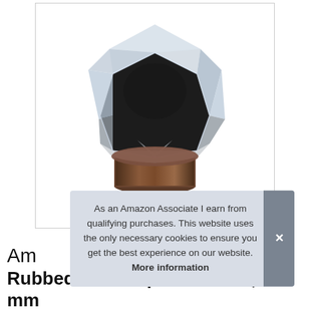[Figure (photo): A crystal/glass cabinet knob with a faceted diamond-like clear top and a rubbed bronze cylindrical base, photographed against a white background.]
As an Amazon Associate I earn from qualifying purchases. This website uses the only necessary cookies to ensure you get the best experience on our website. More information
Am
Rubbed Bronze | 1-5/16 inch, 33 mm